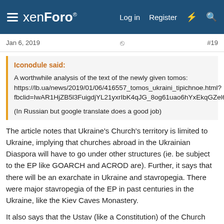xenForo | Log in | Register
Jan 6, 2019  #19
Iconodule said:
A worthwhile analysis of the text of the newly given tomos: https://lb.ua/news/2019/01/06/416557_tomos_ukraini_tipichnoe.html?fbclid=IwAR1HjZB5l3FuigdjYL21yxrIbK4qJG_8og61uao6hYxEkqGZel6DbeaoMew

(In Russian but google translate does a good job)
The article notes that Ukraine's Church's territory is limited to Ukraine, implying that churches abroad in the Ukrainian Diaspora will have to go under other structures (ie. be subject to the EP like GOARCH and ACROD are). Further, it says that there will be an exarchate in Ukraine and stavropegia. There were major stavropegia of the EP in past centuries in the Ukraine, like the Kiev Caves Monastery.
It also says that the Ustav (like a Constitution) of the Church